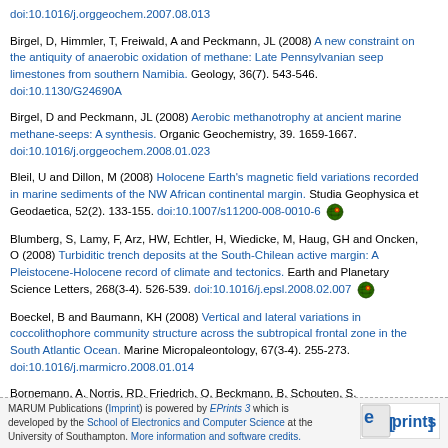doi:10.1016/j.orggeochem.2007.08.013
Birgel, D, Himmler, T, Freiwald, A and Peckmann, JL (2008) A new constraint on the antiquity of anaerobic oxidation of methane: Late Pennsylvanian seep limestones from southern Namibia. Geology, 36(7). 543-546. doi:10.1130/G24690A
Birgel, D and Peckmann, JL (2008) Aerobic methanotrophy at ancient marine methane-seeps: A synthesis. Organic Geochemistry, 39. 1659-1667. doi:10.1016/j.orggeochem.2008.01.023
Bleil, U and Dillon, M (2008) Holocene Earth's magnetic field variations recorded in marine sediments of the NW African continental margin. Studia Geophysica et Geodaetica, 52(2). 133-155. doi:10.1007/s11200-008-0010-6
Blumberg, S, Lamy, F, Arz, HW, Echtler, H, Wiedicke, M, Haug, GH and Oncken, O (2008) Turbiditic trench deposits at the South-Chilean active margin: A Pleistocene-Holocene record of climate and tectonics. Earth and Planetary Science Letters, 268(3-4). 526-539. doi:10.1016/j.epsl.2008.02.007
Boeckel, B and Baumann, KH (2008) Vertical and lateral variations in coccolithophore community structure across the subtropical frontal zone in the South Atlantic Ocean. Marine Micropaleontology, 67(3-4). 255-273. doi:10.1016/j.marmicro.2008.01.014
Bornemann, A, Norris, RD, Friedrich, O, Beckmann, B, Schouten, S,
MARUM Publications (Imprint) is powered by EPrints 3 which is developed by the School of Electronics and Computer Science at the University of Southampton. More information and software credits.